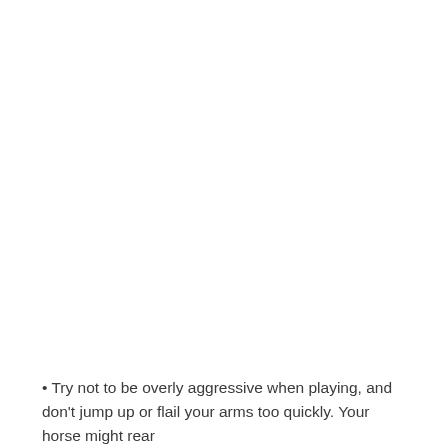• Try not to be overly aggressive when playing, and don't jump up or flail your arms too quickly. Your horse might rear